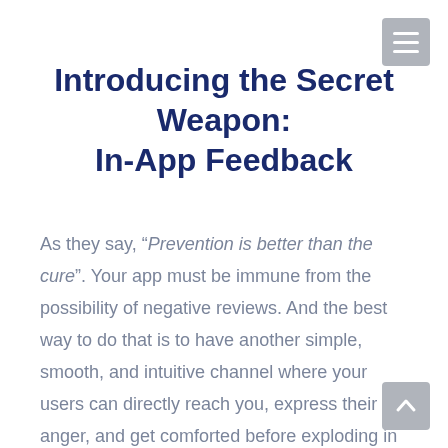Introducing the Secret Weapon: In-App Feedback
As they say, “Prevention is better than the cure”. Your app must be immune from the possibility of negative reviews. And the best way to do that is to have another simple, smooth, and intuitive channel where your users can directly reach you, express their anger, and get comforted before exploding in public. This channel is in-app feedback. It